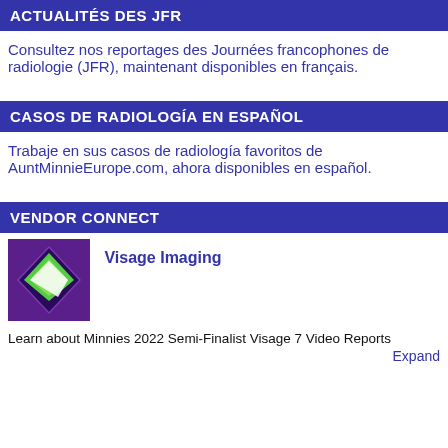ACTUALITÉS DES JFR
Consultez nos reportages des Journées francophones de radiologie (JFR), maintenant disponibles en français.
CASOS DE RADIOLOGÍA EN ESPAÑOL
Trabaje en sus casos de radiología favoritos de AuntMinnieEurope.com, ahora disponibles en español.
VENDOR CONNECT
[Figure (logo): Visage Imaging logo: green diamond shape on purple background]
Visage Imaging
Learn about Minnies 2022 Semi-Finalist Visage 7 Video Reports
Expand